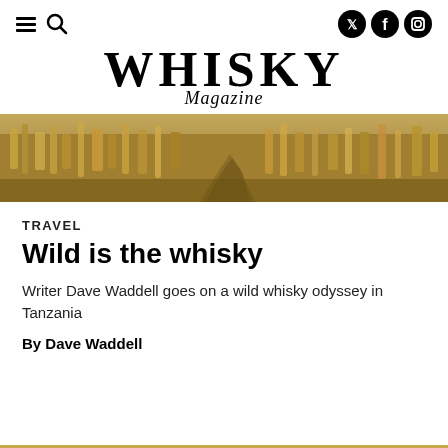Whisky Magazine — navigation and social icons
WHISKY Magazine
[Figure (photo): Aerial or ground-level view of dry golden savanna grasses with what appears to be a path or animal walking through, shot in warm tones.]
TRAVEL
Wild is the whisky
Writer Dave Waddell goes on a wild whisky odyssey in Tanzania
By Dave Waddell